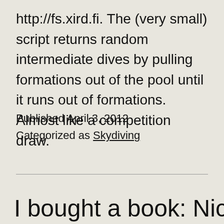http://fs.xird.fi. The (very small) script returns random intermediate dives by pulling formations out of the pool until it runs out of formations. Almost like a competition draw.
Published April 3, 2012
Categorized as Skydiving
I bought a book: Nicholas